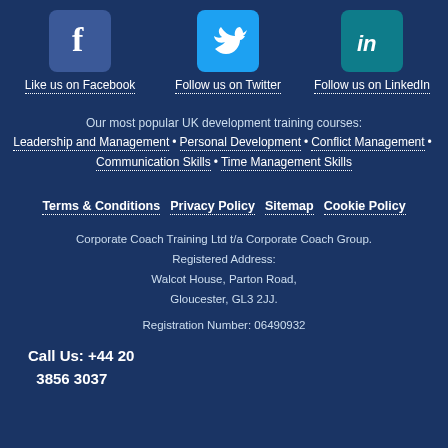[Figure (logo): Facebook logo icon (blue square with white f)]
Like us on Facebook
[Figure (logo): Twitter logo icon (light blue square with white bird)]
Follow us on Twitter
[Figure (logo): LinkedIn logo icon (teal square with white in)]
Follow us on LinkedIn
Our most popular UK development training courses:
Leadership and Management • Personal Development • Conflict Management • Communication Skills • Time Management Skills
Terms & Conditions   Privacy Policy   Sitemap   Cookie Policy
Corporate Coach Training Ltd t/a Corporate Coach Group.
Registered Address:
Walcot House, Parton Road,
Gloucester, GL3 2JJ.
Registration Number: 06490932
Call Us: +44 20
3856 3037